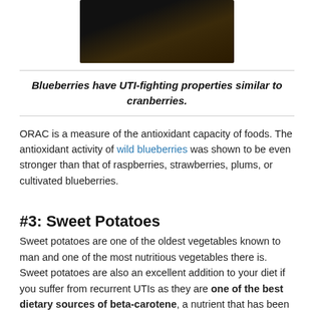[Figure (photo): Close-up photo of blueberries in a basket]
Blueberries have UTI-fighting properties similar to cranberries.
ORAC is a measure of the antioxidant capacity of foods. The antioxidant activity of wild blueberries was shown to be even stronger than that of raspberries, strawberries, plums, or cultivated blueberries.
#3: Sweet Potatoes
Sweet potatoes are one of the oldest vegetables known to man and one of the most nutritious vegetables there is. Sweet potatoes are also an excellent addition to your diet if you suffer from recurrent UTIs as they are one of the best dietary sources of beta-carotene, a nutrient that has been shown to provide protection against UTIs. The pink, orange, and yellow varieties are one of the most concentrated food sources of beta-carotene (the more intense the color, the more beta-carotene). By including sweet potatoes in your diet, you can also benefit from